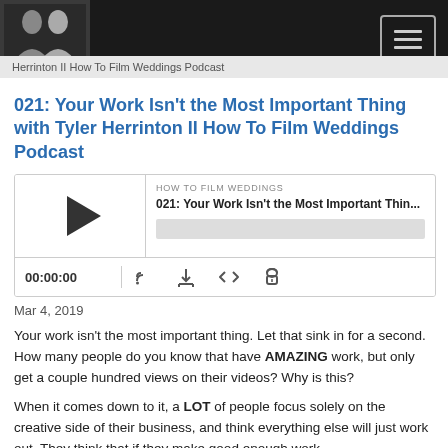Herrinton II How To Film Weddings Podcast
021: Your Work Isn't the Most Important Thing with Tyler Herrinton II How To Film Weddings Podcast
[Figure (screenshot): Embedded audio player widget showing HOW TO FILM WEDDINGS podcast episode 021, with play button, episode title, progress bar, timer showing 00:00:00, and control icons for RSS, download, embed, and accessibility]
Mar 4, 2019
Your work isn't the most important thing. Let that sink in for a second. How many people do you know that have AMAZING work, but only get a couple hundred views on their videos? Why is this?
When it comes down to it, a LOT of people focus solely on the creative side of their business, and think everything else will just work out. They think that if they make good enough work,